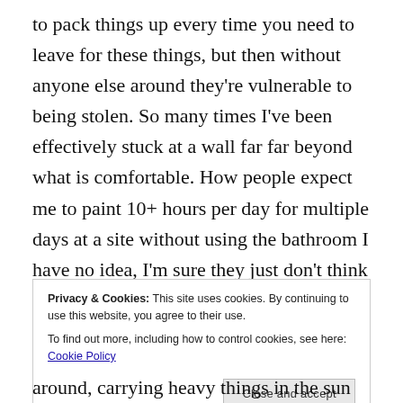to pack things up every time you need to leave for these things, but then without anyone else around they're vulnerable to being stolen. So many times I've been effectively stuck at a wall far far beyond what is comfortable. How people expect me to paint 10+ hours per day for multiple days at a site without using the bathroom I have no idea, I'm sure they just don't think about it so now I've learnt to bring it
Privacy & Cookies: This site uses cookies. By continuing to use this website, you agree to their use.
To find out more, including how to control cookies, see here: Cookie Policy
around, carrying heavy things in the sun